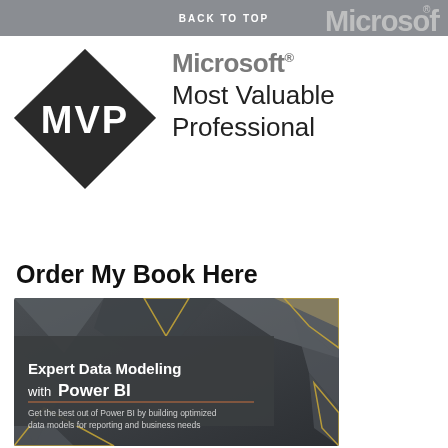BACK TO TOP
[Figure (logo): Microsoft logo with registered trademark symbol in grey, partially visible at top right of header]
[Figure (logo): Microsoft MVP (Most Valuable Professional) logo: black diamond shape with 'MVP' text in white, alongside 'Most Valuable Professional' text]
Order My Book Here
[Figure (photo): Book cover for 'Expert Data Modeling with Power BI' - dark geometric polygon background in grey and gold tones, with white title text and subtitle: 'Get the best out of Power BI by building optimized data models for reporting and business needs']